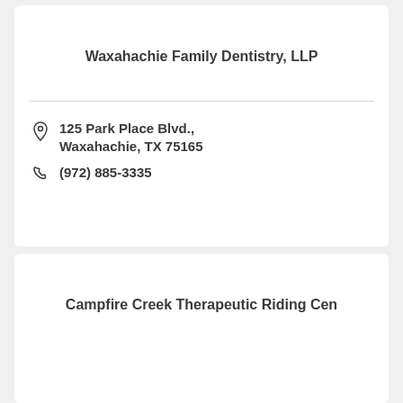Waxahachie Family Dentistry, LLP
125 Park Place Blvd., Waxahachie, TX 75165
(972) 885-3335
Campfire Creek Therapeutic Riding Cen